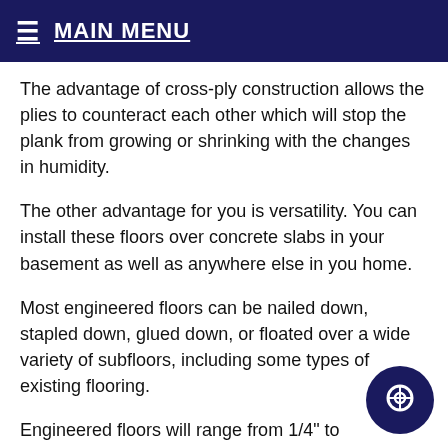≡ MAIN MENU
The advantage of cross-ply construction allows the plies to counteract each other which will stop the plank from growing or shrinking with the changes in humidity.
The other advantage for you is versatility. You can install these floors over concrete slabs in your basement as well as anywhere else in you home.
Most engineered floors can be nailed down, stapled down, glued down, or floated over a wide variety of subfloors, including some types of existing flooring.
Engineered floors will range from 1/4" to 9/16" thickness, and vary from 2 1/4" to 7" in width. The widths can also be mixed, such as 3-5-7-inch planks